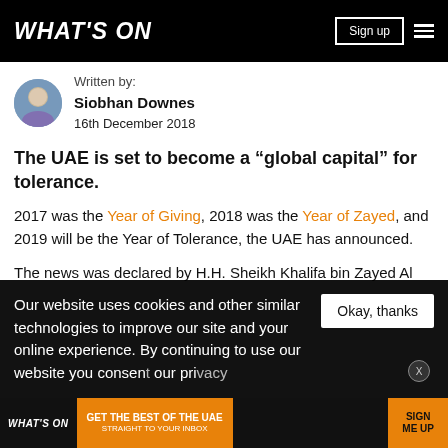WHAT'S ON
Written by:
Siobhan Downes
16th December 2018
The UAE is set to become a “global capital” for tolerance.
2017 was the Year of Giving, 2018 was the Year of Zayed, and 2019 will be the Year of Tolerance, the UAE has announced.
The news was declared by H.H. Sheikh Khalifa bin Zayed Al
Our website uses cookies and other similar technologies to improve our site and your online experience. By continuing to use our website you consent to our privacy...
[Figure (screenshot): Bottom ad banner: WHAT'S ON GET THE BEST OF THE UAE STRAIGHT TO YOUR INBOX SIGN ME UP]